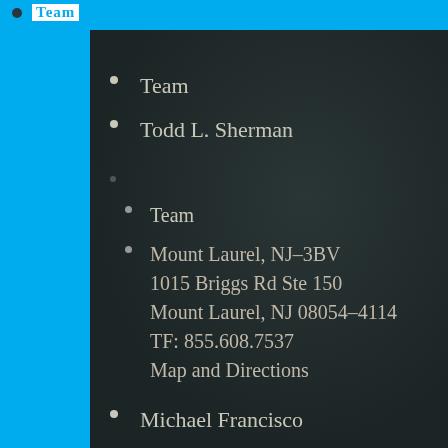Team
Team
Todd L. Sherman
Team
Mount Laurel, NJ-3BV
1015 Briggs Rd Ste 150
Mount Laurel, NJ 08054-4114
TF: 855.608.7537
Map and Directions
Michael Francisco